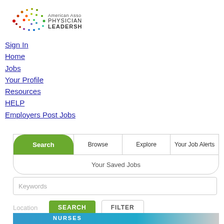[Figure (logo): American Association of Physician Leadership logo with colorful dot pattern and text PHYSICIAN LEADERSHIP]
Sign In
Home
Jobs
Your Profile
Resources
HELP
Employers Post Jobs
Search | Browse | Explore | Your Job Alerts
Your Saved Jobs
Keywords
Location
SEARCH
FILTER
[Figure (screenshot): Bottom partial banner showing NURSES text in blue/teal]